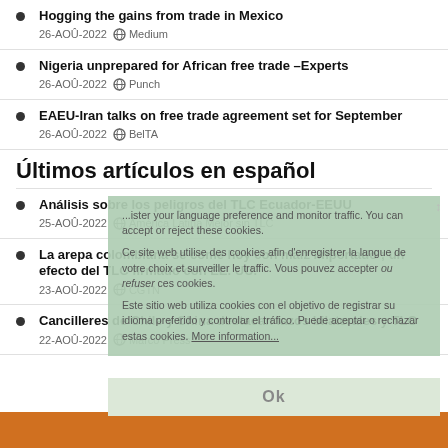Hogging the gains from trade in Mexico
26-AOÛ-2022 · Medium
Nigeria unprepared for African free trade –Experts
26-AOÛ-2022 · Punch
EAEU-Iran talks on free trade agreement set for September
26-AOÛ-2022 · BelTA
Últimos artículos en español
Análisis sobre los peligros del TLC Ecuador-EEUU
25-AOÛ-2022 · América Latina Mejor sin TLC
La arepa colombiana se come hoy con maíz importado ; un efecto del TLC firmado con EE. UU.
23-AOÛ-2022 · CGTN
Cancilleres de Chile y China destacan lazos bilaterales y TLC
22-AOÛ-2022 · Marco Press
Ce site web utilise des cookies afin d'enregistrer la langue de votre choix et surveiller le traffic. You can accept or reject these cookies.
Ce site web utilise des cookies afin d'enregistrer la langue de votre choix et surveiller le traffic. Vous pouvez accepter ou refuser ces cookies.
Este sitio web utiliza cookies con el objetivo de registrar su idioma preferido y controlar el tráfico. Puede aceptar o rechazar estas cookies. More information...
Ok